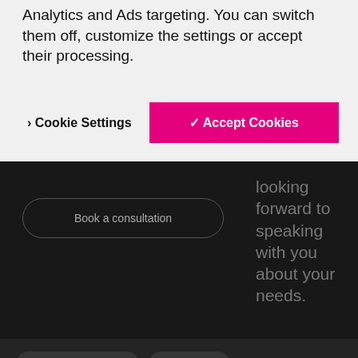Analytics and Ads targeting. You can switch them off, customize the settings or accept their processing.
› Cookie Settings
✓ Accept Cookies
Book a consultation
looking forward to speaking with you about your needs.
future trends in work
hybrid work
By browsing the website, you agree to the use of cookies. You can find more information about their use in cookie settings
I agree